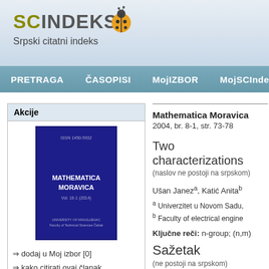[Figure (logo): SCIndeks logo with ladybug icon and text 'Srpski citatni indeks']
PRETRAGA  ČASOPISI  MojIZBOR  MojSCInde
Akcije
[Figure (photo): Cover of Mathematica Moravica journal, dark blue cover, Vol. 16-1 (2014)]
⇒ dodaj u Moj izbor [0]
⇒ kako citirati ovaj članak
⇒ podeli ovaj članak
Direktan link
https://scindeks.ceon.rs/artic
Mathematica Moravica
2004, br. 8-1, str. 73-78
Two characterizations
(naslov ne postoji na srpskom)
Ušan Janeza, Katić Anitab
a Univerzitet u Novom Sadu,
b Faculty of electrical engine
Ključne reči: n-group; (n,m)
Sažetak
(ne postoji na srpskom)